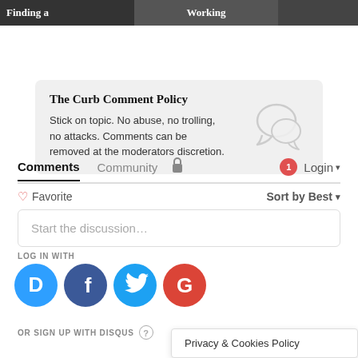[Figure (photo): Top banner with three image thumbnails showing partial text 'Finding a' and 'Working']
The Curb Comment Policy
Stick on topic. No abuse, no trolling, no attacks. Comments can be removed at the moderators discretion.
Comments  Community  🔒  1  Login ▾
♡ Favorite  Sort by Best ▾
Start the discussion…
LOG IN WITH
[Figure (logo): Social login icons: Disqus (blue circle D), Facebook (dark blue circle f), Twitter (cyan circle bird), Google (red circle G)]
OR SIGN UP WITH DISQUS
Privacy & Cookies Policy